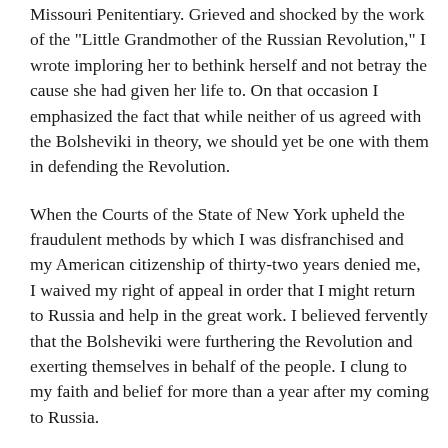Missouri Penitentiary. Grieved and shocked by the work of the "Little Grandmother of the Russian Revolution," I wrote imploring her to bethink herself and not betray the cause she had given her life to. On that occasion I emphasized the fact that while neither of us agreed with the Bolsheviki in theory, we should yet be one with them in defending the Revolution.
When the Courts of the State of New York upheld the fraudulent methods by which I was disfranchised and my American citizenship of thirty-two years denied me, I waived my right of appeal in order that I might return to Russia and help in the great work. I believed fervently that the Bolsheviki were furthering the Revolution and exerting themselves in behalf of the people. I clung to my faith and belief for more than a year after my coming to Russia.
Observation and study, extensive travel through various parts of the country